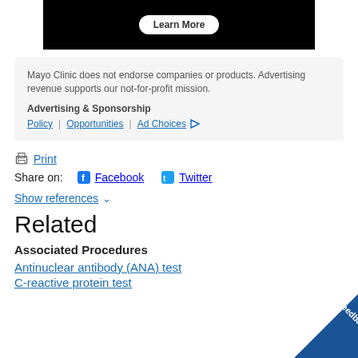[Figure (other): Black advertisement banner with a 'Learn More' button]
Mayo Clinic does not endorse companies or products. Advertising revenue supports our not-for-profit mission.
Advertising & Sponsorship
Policy | Opportunities | Ad Choices
Print
Share on:  Facebook  Twitter
Show references
Related
Associated Procedures
Antinuclear antibody (ANA) test
C-reactive protein test